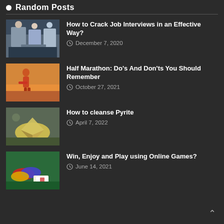Random Posts
How to Crack Job Interviews in an Effective Way? | December 7, 2020
Half Marathon: Do’s And Don’ts You Should Remember | October 27, 2021
How to cleanse Pyrite | April 7, 2022
Win, Enjoy and Play using Online Games? | June 14, 2021